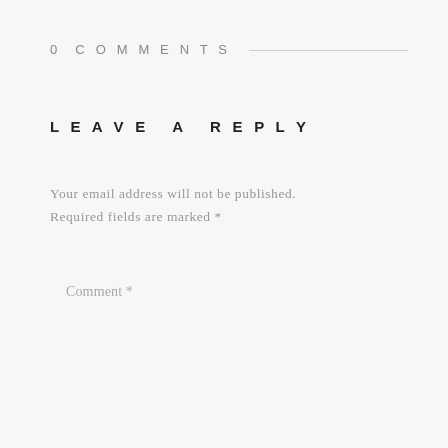0 COMMENTS
LEAVE A REPLY
Your email address will not be published. Required fields are marked *
Comment *